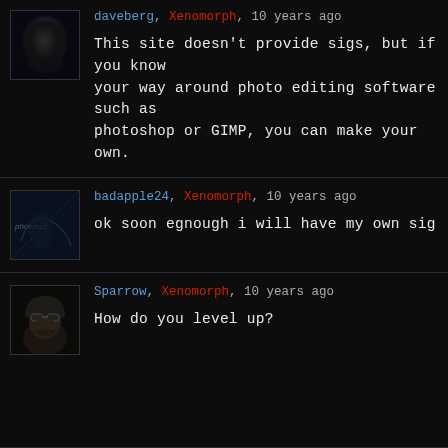[Figure (photo): Avatar of user daveberg, dark alien/creature themed image]
daveberg, Xenomorph, 10 years ago
This site doesn't provide sigs, but if you know your way around photo editing software such as photoshop or GIMP, you can make your own.
[Figure (photo): Avatar of user badapple24, photobucket alien themed image]
badapple24, Xenomorph, 10 years ago
ok soon egnough i will have my own sig
[Figure (photo): Avatar of user Sparrow, soldier with helmet and goggles]
Sparrow, Xenomorph, 10 years ago
How do you level up?